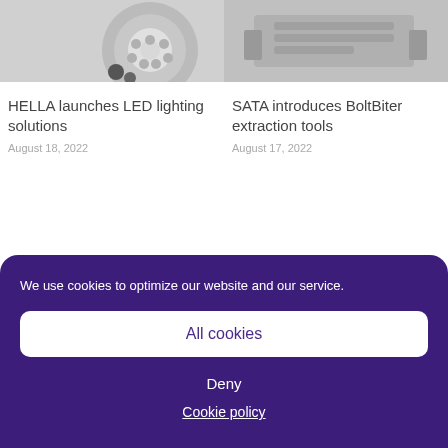[Figure (photo): Product photo of HELLA LED lighting solution, partial view with circular light fixture on grey background]
HELLA launches LED lighting solutions
August 18, 2022
[Figure (photo): Product photo of SATA BoltBiter extraction tools, partial view of tools on grey background]
SATA introduces BoltBiter extraction tools
August 17, 2022
We use cookies to optimize our website and our service.
All cookies
Deny
Cookie policy